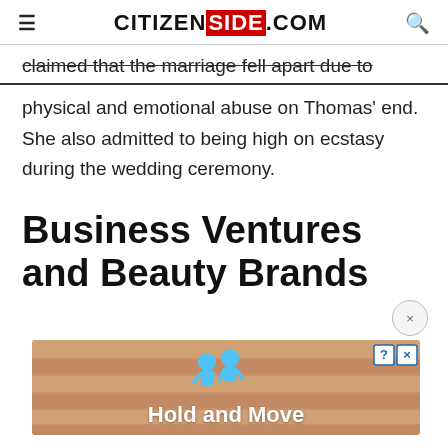CITIZENSIDE.COM
claimed that the marriage fell apart due to physical and emotional abuse on Thomas' end. She also admitted to being high on ecstasy during the wedding ceremony.
Business Ventures and Beauty Brands
[Figure (other): Advertisement banner showing 'Hold and Move' with animated characters on a wooden background]